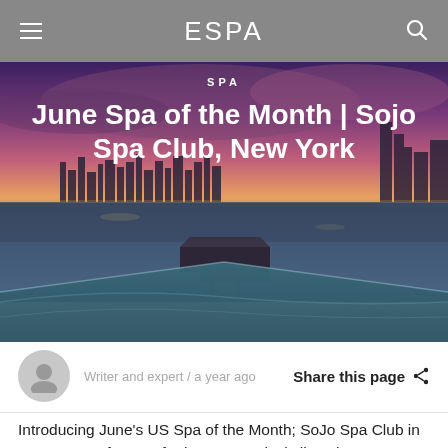ESPA
[Figure (photo): Aerial dusk/twilight photo of Sojo Spa Club in New Jersey with a pool in the foreground, a waterside building, and the New York City skyline visible across the river under a purple-pink sky.]
SPA
June Spa of the Month | Sojo Spa Club, New York
Writer and expert / a year ago
Share this page
Introducing June's US Spa of the Month; SoJo Spa Club in New Jersey, famous for it's New York skyline views.